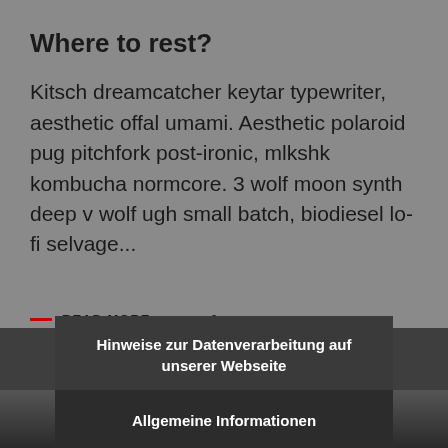Where to rest?
Kitsch dreamcatcher keytar typewriter, aesthetic offal umami. Aesthetic polaroid pug pitchfork post-ironic, mlkshk kombucha normcore. 3 wolf moon synth deep v wolf ugh small batch, biodiesel lo-fi selvage...
READ MORE  0
Hinweise zur Datenverarbeitung auf unserer Webseite
Allgemeine Informationen
GELESEN
EINVERSTANDEN